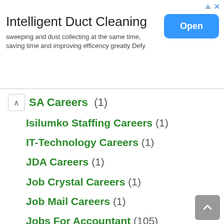[Figure (screenshot): Advertisement banner for 'Intelligent Duct Cleaning' with an Open button]
SA Careers (1)
Isilumko Staffing Careers (1)
IT-Technology Careers (1)
JDA Careers (1)
Job Crystal Careers (1)
Job Mail Careers (1)
Jobs For Accountant (105)
Jobs For Administrator (217)
Jobs For Advisor (53)
Jobs For Analyst (134)
Jobs For Architect (8)